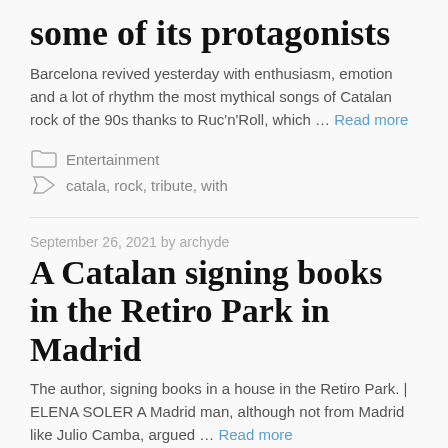some of its protagonists
Barcelona revived yesterday with enthusiasm, emotion and a lot of rhythm the most mythical songs of Catalan rock of the 90s thanks to Ruc'n'Roll, which … Read more
Entertainment
catala, rock, tribute, with
September 26, 2021 by archyde
A Catalan signing books in the Retiro Park in Madrid
The author, signing books in a house in the Retiro Park. | ELENA SOLER A Madrid man, although not from Madrid like Julio Camba, argued … Read more